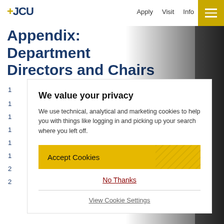+JCU  Apply  Visit  Info
Appendix: Department Directors and Chairs
1
1
1
1
1
1
2
2
We value your privacy
We use technical, analytical and marketing cookies to help you with things like logging in and picking up your search where you left off.
Accept Cookies
No Thanks
View Cookie Settings